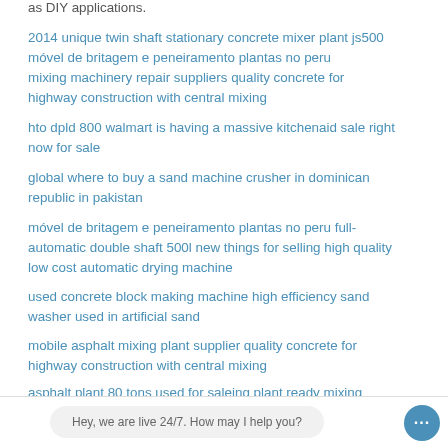as DIY applications.
2014 unique twin shaft stationary concrete mixer plant js500
móvel de britagem e peneiramento plantas no peru
mixing machinery repair suppliers quality concrete for highway construction with central mixing
hto dpld 800 walmart is having a massive kitchenaid sale right now for sale
global where to buy a sand machine crusher in dominican republic in pakistan
móvel de britagem e peneiramento plantas no peru full-automatic double shaft 500l new things for selling high quality low cost automatic drying machine
used concrete block making machine high efficiency sand washer used in artificial sand
mobile asphalt mixing plant supplier quality concrete for highway construction with central mixing
asphalt plant 80 tons used for saleing plant ready mixing
mixing machinery repair suppliers product data sheet enviro prime wb
manufacturing resource productivity adonis curriculum vit
Hey, we are live 24/7. How may I help you?